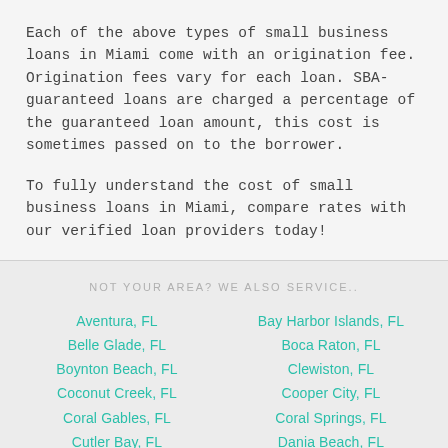Each of the above types of small business loans in Miami come with an origination fee. Origination fees vary for each loan. SBA-guaranteed loans are charged a percentage of the guaranteed loan amount, this cost is sometimes passed on to the borrower.
To fully understand the cost of small business loans in Miami, compare rates with our verified loan providers today!
NOT YOUR AREA? WE ALSO SERVICE..
Aventura, FL
Bay Harbor Islands, FL
Belle Glade, FL
Boca Raton, FL
Boynton Beach, FL
Clewiston, FL
Coconut Creek, FL
Cooper City, FL
Coral Gables, FL
Coral Springs, FL
Cutler Bay, FL
Dania Beach, FL
Davie, FL
Deerfield Beach, FL
Delray Beach, FL
Doral, FL